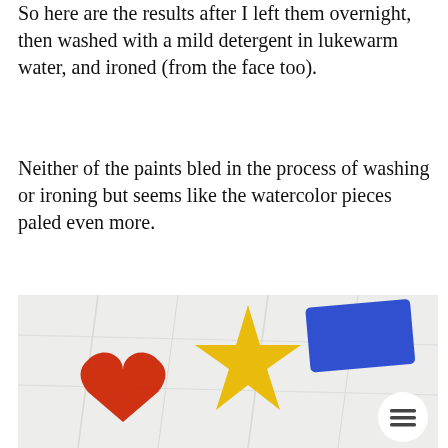So here are the results after I left them overnight, then washed with a mild detergent in lukewarm water, and ironed (from the face too).
Neither of the paints bled in the process of washing or ironing but seems like the watercolor pieces paled even more.
[Figure (photo): Photo of white fabric with painted shapes: a red heart on the left, a yellow star in the center, and a blue rectangle on the right. A circular menu button with three horizontal lines is visible in the lower right corner.]